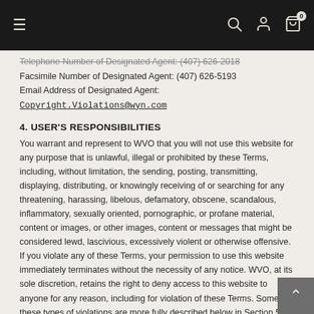Navigation bar with hamburger menu, search, user, and cart icons
Telephone Number of Designated Agent: (407) 626-2018
Facsimile Number of Designated Agent: (407) 626-5193
Email Address of Designated Agent: Copyright.Violations@wyn.com
4. USER'S RESPONSIBILITIES
You warrant and represent to WVO that you will not use this website for any purpose that is unlawful, illegal or prohibited by these Terms, including, without limitation, the sending, posting, transmitting, displaying, distributing, or knowingly receiving of or searching for any threatening, harassing, libelous, defamatory, obscene, scandalous, inflammatory, sexually oriented, pornographic, or profane material, content or images, or other images, content or messages that might be considered lewd, lascivious, excessively violent or otherwise offensive. If you violate any of these Terms, your permission to use this website immediately terminates without the necessity of any notice. WVO, at its sole discretion, retains the right to deny access to this website to anyone for any reason, including for violation of these Terms. Some of these types of violations are more fully described below in Section 5.
You are solely responsible for the content, accuracy and your use of